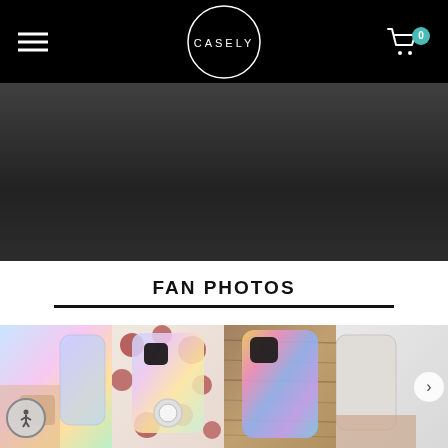CASELY
[Figure (photo): Dark gradient hero banner area, dark gray/charcoal background with subtle light gradient]
FAN PHOTOS
[Figure (photo): Fan photos row showing phone cases: partial pastel holographic case on left, floral red pattern case with holographic insert and pop socket, colorful watercolor/tie-dye phone case on wood background, partial image of another case on right. Accessibility button overlay on left. Right arrow navigation button.]